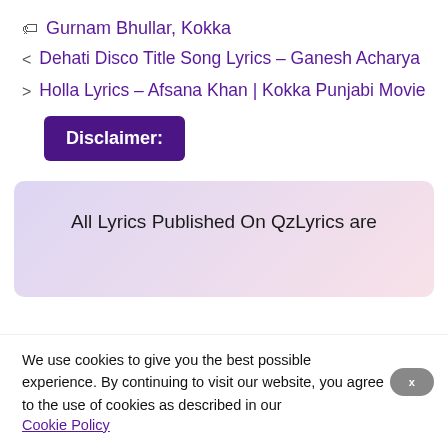🏷 Gurnam Bhullar, Kokka
< Dehati Disco Title Song Lyrics – Ganesh Acharya
> Holla Lyrics – Afsana Khan | Kokka Punjabi Movie
Disclaimer:
[Figure (other): Gradient banner with text: All Lyrics Published On QzLyrics are]
We use cookies to give you the best possible experience. By continuing to visit our website, you agree to the use of cookies as described in our
Cookie Policy